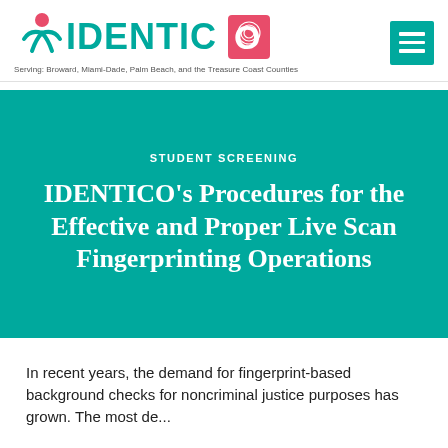[Figure (logo): IDENTICO logo with a human figure icon, teal and red brand colors, and a hamburger menu icon in teal]
Serving: Broward, Miami-Dade, Palm Beach, and the Treasure Coast Counties
STUDENT SCREENING
IDENTICO's Procedures for the Effective and Proper Live Scan Fingerprinting Operations
In recent years, the demand for fingerprint-based background checks for noncriminal justice purposes has grown. The most de...